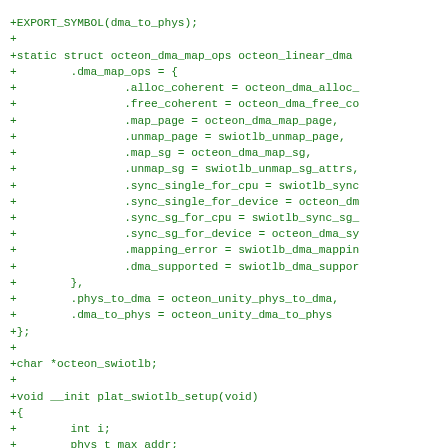+EXPORT_SYMBOL(dma_to_phys);
+
+static struct octeon_dma_map_ops octeon_linear_dma
+        .dma_map_ops = {
+                .alloc_coherent = octeon_dma_alloc_
+                .free_coherent = octeon_dma_free_co
+                .map_page = octeon_dma_map_page,
+                .unmap_page = swiotlb_unmap_page,
+                .map_sg = octeon_dma_map_sg,
+                .unmap_sg = swiotlb_unmap_sg_attrs,
+                .sync_single_for_cpu = swiotlb_sync
+                .sync_single_for_device = octeon_dm
+                .sync_sg_for_cpu = swiotlb_sync_sg_
+                .sync_sg_for_device = octeon_dma_sy
+                .mapping_error = swiotlb_dma_mappin
+                .dma_supported = swiotlb_dma_suppor
+        },
+        .phys_to_dma = octeon_unity_phys_to_dma,
+        .dma_to_phys = octeon_unity_dma_to_phys
+};
+
+char *octeon_swiotlb;
+
+void __init plat_swiotlb_setup(void)
+{
+        int i;
+        phys_t max_addr;
+        phys_t addr_size;
+        size_t swiotlbsize;
+        unsigned long swiotlb_nslabs;